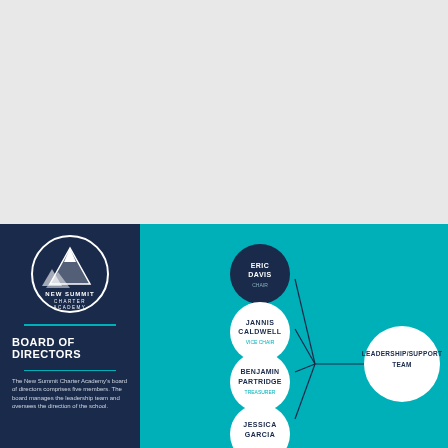[Figure (logo): New Summit Charter Academy logo — white mountain and circle design with text NEW SUMMIT CHARTER ACADEMY EST. 2018]
BOARD OF DIRECTORS
The New Summit Charter Academy's board of directors comprises five members. The board manages the leadership team and oversees the direction of the school.
[Figure (organizational-chart): Org chart on teal background showing board members connected to Leadership/Support Team. Eric Davis (Chair) at top, then Jannis Caldwell (Vice Chair), Benjamin Partridge (Treasurer), Jessica Garcia below, all connected by lines to Leadership/Support Team circle on the right.]